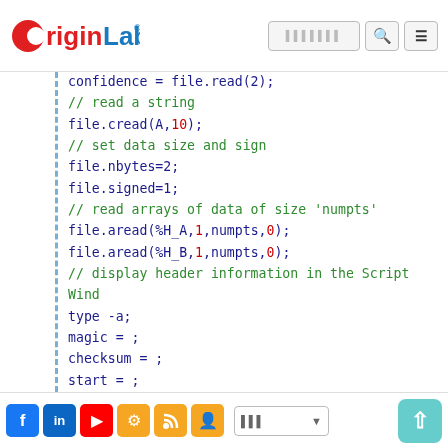OriginLab [navigation bar with search]
confidence = file.read(2);
// read a string
file.cread(A,10);
// set data size and sign
file.nbytes=2;
file.signed=1;
// read arrays of data of size 'numpts'
file.aread(%H_A,1,numpts,0);
file.aread(%H_B,1,numpts,0);
// display header information in the Script Wind
type -a;
magic = ;
checksum = ;
start = ;
stop = ;
incr = ;
dwell = ;
drive = ;
Facebook LinkedIn YouTube Settings RSS Groups | Language selector | Up button